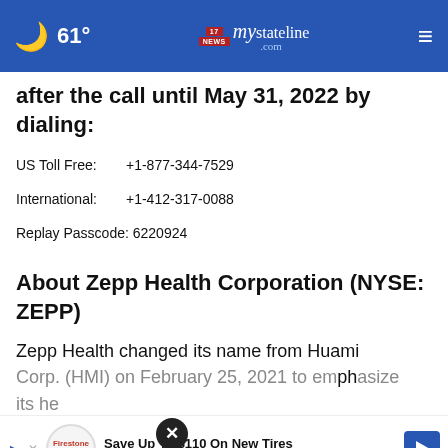61° mystateline.com NEWS
after the call until May 31, 2022 by dialing:
US Toll Free:    +1-877-344-7529
International:    +1-412-317-0088
Replay Passcode: 6220924
About Zepp Health Corporation (NYSE: ZEPP)
Zepp Health changed its name from Huami Corp. (HMI) on February 25, 2021 to emphasize its he... across languages and cultures globally. The
[Figure (screenshot): Advertisement banner: Save Up To $110 On New Tires - Virginia Tire & Auto of Ashburn Fa.]